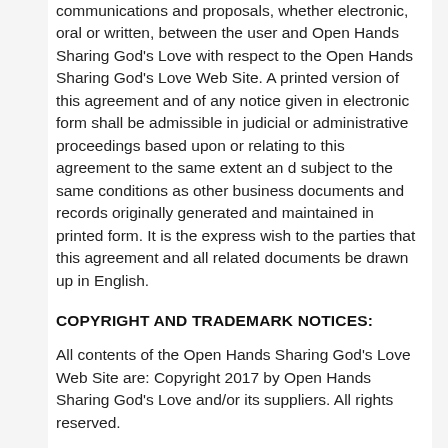communications and proposals, whether electronic, oral or written, between the user and Open Hands Sharing God's Love with respect to the Open Hands Sharing God's Love Web Site. A printed version of this agreement and of any notice given in electronic form shall be admissible in judicial or administrative proceedings based upon or relating to this agreement to the same extent an d subject to the same conditions as other business documents and records originally generated and maintained in printed form. It is the express wish to the parties that this agreement and all related documents be drawn up in English.
COPYRIGHT AND TRADEMARK NOTICES:
All contents of the Open Hands Sharing God's Love Web Site are: Copyright 2017 by Open Hands Sharing God's Love and/or its suppliers. All rights reserved.